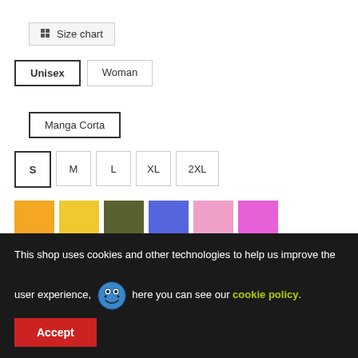Size chart
Unisex | Woman
Manga Corta
S | M | L | XL | 2XL
[Figure (infographic): Six color swatches: orange, golden yellow, olive/dark green, blue, light pink, pink/magenta]
[Figure (infographic): Partial circular loading spinner in light gray]
1
This shop uses cookies and other technologies to help us improve the user experience, here you can see our cookie policy.
Accept